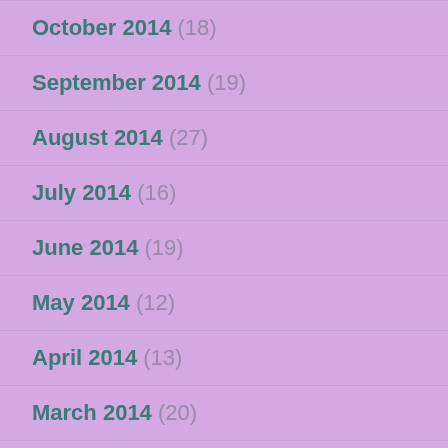October 2014 (18)
September 2014 (19)
August 2014 (27)
July 2014 (16)
June 2014 (19)
May 2014 (12)
April 2014 (13)
March 2014 (20)
February 2014 (23)